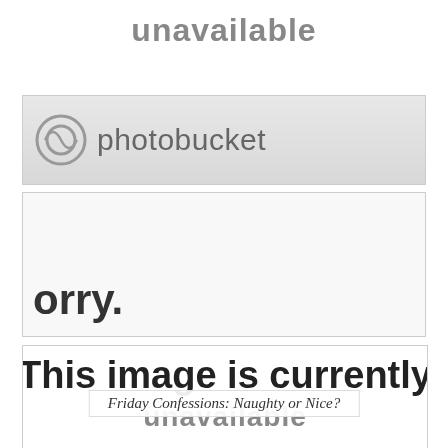[Figure (screenshot): Photobucket image unavailable placeholder showing 'unavailable' text at top, Photobucket logo banner, 'orry.' text (partial 'Sorry.'), 'This image is currently' text, and 'unavailable' text at bottom]
Friday Confessions: Naughty or Nice?